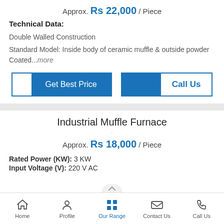Approx. Rs 22,000 / Piece
Technical Data:
Double Walled Construction
Standard Model: Inside body of ceramic muffle & outside powder Coated...more
[Figure (other): Two buttons: Get Best Price (blue) and Call Us (white with blue text)]
Industrial Muffle Furnace
Approx. Rs 18,000 / Piece
Rated Power (KW): 3 KW
Input Voltage (V): 220 V AC
Home  Profile  Our Range  Contact Us  Call Us